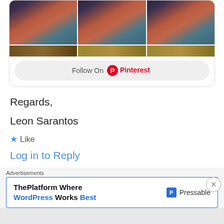[Figure (screenshot): Pinterest widget showing a 3-column grid of portrait paintings (woman in blue top against orange/red background), with a partially visible second row of images, and a 'Follow On Pinterest' button at the bottom]
Regards,
Leon Sarantos
★ Like
Log in to Reply
Advertisements
[Figure (screenshot): Advertisement for Pressable - 'ThePlatform Where WordPress Works Best' with Pressable logo]